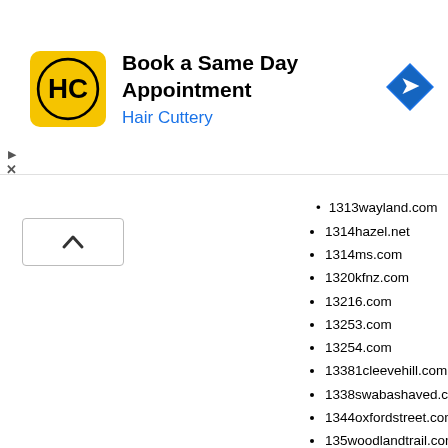[Figure (other): Hair Cuttery advertisement banner: Book a Same Day Appointment with Hair Cuttery logo and navigation icon]
1313wayland.com (partial, cut off at top)
1314hazel.net
1314ms.com
1320kfnz.com
13216.com
13253.com
13254.com
13381cleevehill.com
1338swabashaved.com
1344oxfordstreet.com
135woodlandtrail.com
136liao.com
1370coloma.com
13799.net
139chn.com
139vspace.com
139vzone.com
13u1.com
1400pch.com
140offline.com
1411meadowbrook.com
141celebration.com
1429ritzyiew.com (partial, cut off at bottom)